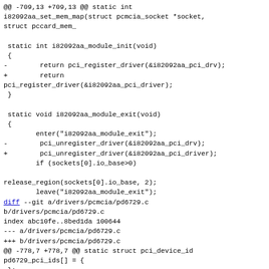@@ -709,13 +709,13 @@ static int
i82092aa_set_mem_map(struct pcmcia_socket *socket,
struct pccard_mem_

 static int i82092aa_module_init(void)
 {
-        return pci_register_driver(&i82092aa_pci_drv);
+        return
pci_register_driver(&i82092aa_pci_driver);
 }

 static void i82092aa_module_exit(void)
 {
        enter("i82092aa_module_exit");
-        pci_unregister_driver(&i82092aa_pci_drv);
+        pci_unregister_driver(&i82092aa_pci_driver);
        if (sockets[0].io_base>0)

release_region(sockets[0].io_base, 2);
        leave("i82092aa_module_exit");
diff --git a/drivers/pcmcia/pd6729.c
b/drivers/pcmcia/pd6729.c
index abc10fe..8bed1da 100644
--- a/drivers/pcmcia/pd6729.c
+++ b/drivers/pcmcia/pd6729.c
@@ -778,7 +778,7 @@ static struct pci_device_id
pd6729_pci_ids[] = {
 };
 MODULE_DEVICE_TABLE(pci, pd6729_pci_ids);

 static struct pci_driver i8729_pci_driver {